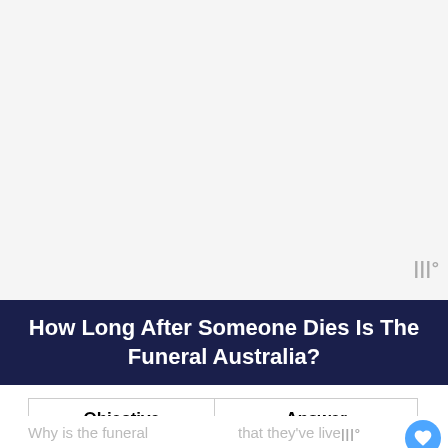How Long After Someone Dies Is The Funeral Australia?
| Objective | Answer |
| --- | --- |
| Duration between death and funeral | 2-5 days |
| Why is the funeral | To celebrate the life that they've lived |
Why is the funeral   that they've lived